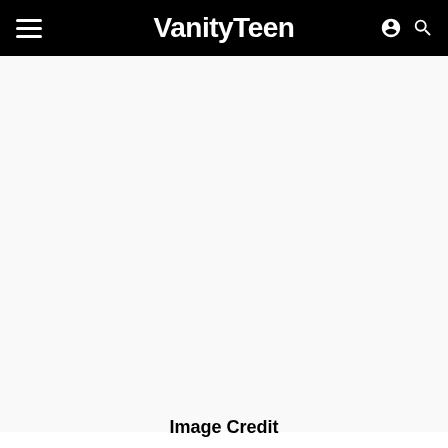VanityTeen
[Figure (other): Large blank white image placeholder area below the navigation bar]
Image Credit